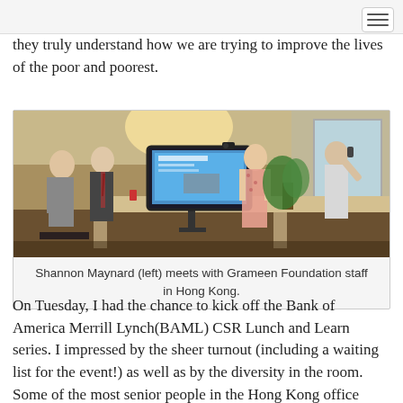they truly understand how we are trying to improve the lives of the poor and poorest.
[Figure (photo): Photo of Shannon Maynard (left) meeting with Grameen Foundation staff in Hong Kong. Several people stand in an office conference room in front of a large screen TV showing a presentation. A plant and window are visible in the background.]
Shannon Maynard (left) meets with Grameen Foundation staff in Hong Kong.
On Tuesday, I had the chance to kick off the Bank of America Merrill Lynch(BAML) CSR Lunch and Learn series. I impressed by the sheer turnout (including a waiting list for the event!) as well as by the diversity in the room. Some of the most senior people in the Hong Kong office attended the event and were the first to inquire during Q&A about how